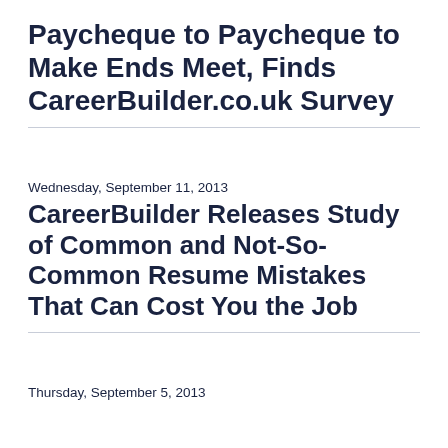Paycheque to Paycheque to Make Ends Meet, Finds CareerBuilder.co.uk Survey
Wednesday, September 11, 2013
CareerBuilder Releases Study of Common and Not-So-Common Resume Mistakes That Can Cost You the Job
Thursday, September 5, 2013